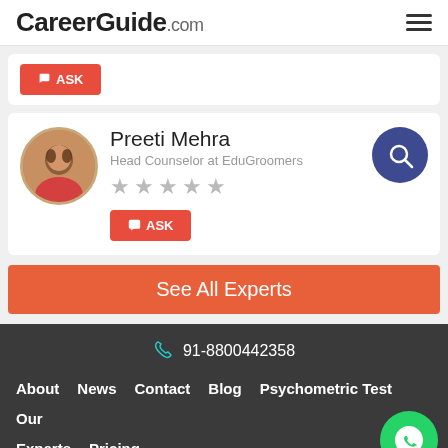CareerGuide.com
[Figure (photo): Partial expert card with red ASK button visible at top]
[Figure (photo): Expert profile card for Preeti Mehra, Head Counselor at EduGroomers, with circular photo, star rating, ASK button and search icon]
Preeti Mehra
Head Counselor at EduGroomers
ASK
See All Experts
91-8800442358
About  News  Contact  Blog  Psychometric Test  Our Experts  Pricing